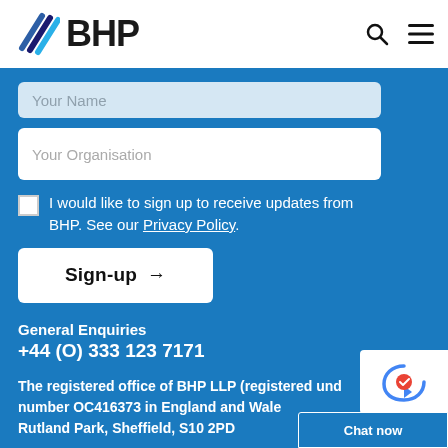BHP logo with navigation icons
[Figure (screenshot): Partially visible input field with placeholder text 'Your Name']
[Figure (screenshot): Input field with placeholder text 'Your Organisation']
I would like to sign up to receive updates from BHP. See our Privacy Policy.
Sign-up →
General Enquiries
+44 (O) 333 123 7171
The registered office of BHP LLP (registered under number OC416373 in England and Wales is at Rutland Park, Sheffield, S10 2PD